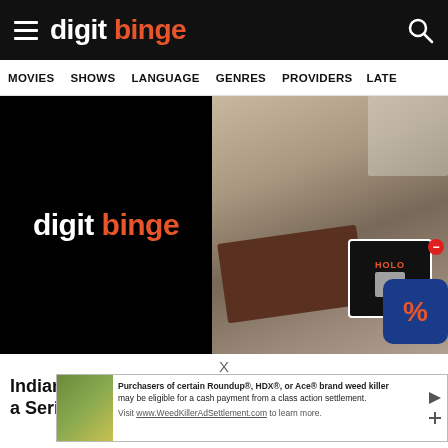digit binge
MOVIES  SHOWS  LANGUAGE  GENRES  PROVIDERS  LATE
[Figure (logo): Digit Binge logo on black background — white 'digit' and orange 'binge' text]
[Figure (photo): Person sitting and drawing/sketching, with papers and artwork visible in background]
X
Indian P... The Bing... a Serial...
[Figure (infographic): Advertisement banner: Roundup/HDX/Ace weed killer class action settlement ad with thumbnail of flowers and text about cash payment eligibility. Visit www.WeedKillerAdSettlement.com to learn more.]